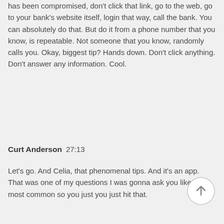has been compromised, don't click that link, go to the web, go to your bank's website itself, login that way, call the bank. You can absolutely do that. But do it from a phone number that you know, is repeatable. Not someone that you know, randomly calls you. Okay, biggest tip? Hands down. Don't click anything. Don't answer any information. Cool.
Curt Anderson  27:13
Let's go. And Celia, that phenomenal tips. And it's an app. That was one of my questions I was gonna ask you like the most common so you just you just hit that.